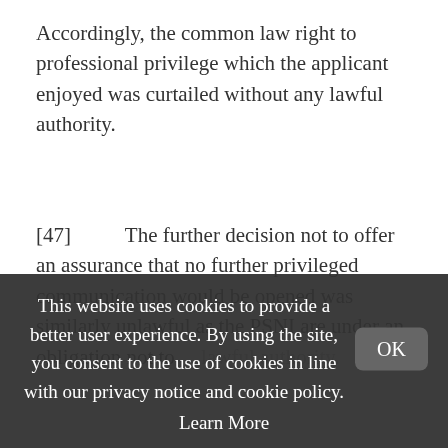Accordingly, the common law right to professional privilege which the applicant enjoyed was curtailed without any lawful authority.
[47]      The further decision not to offer an assurance that no further privileged communication would be opened was similarly unlawful as the PSNI are under an obligation not to
This website uses cookies to provide a better user experience. By using the site, you consent to the use of cookies in line with our privacy notice and cookie policy. Learn More